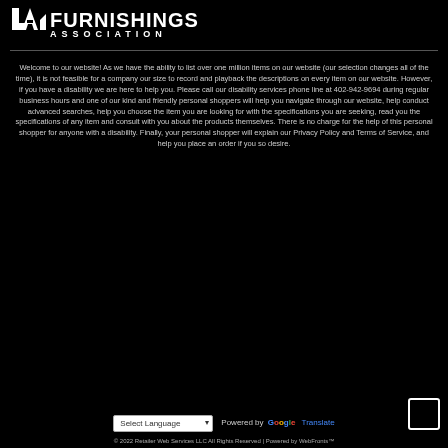[Figure (logo): LA Furnishings Association logo with white icon and large text 'FURNISHINGS ASSOCIATION' on black background]
Welcome to our website! As we have the ability to list over one million items on our website (our selection changes all of the time), it is not feasible for a company our size to record and playback the descriptions on every item on our website. However, if you have a disability we are here to help you. Please call our disability services phone line at 402-942-9694 during regular business hours and one of our kind and friendly personal shoppers will help you navigate through our website, help conduct advanced searches, help you choose the item you are looking for with the specifications you are seeking, read you the specifications of any item and consult with you about the products themselves. There is no charge for the help of this personal shopper for anyone with a disability. Finally, your personal shopper will explain our Privacy Policy and Terms of Service, and help you place an order if you so desire.
© 2022 Retailer Web Services LLC All Rights Reserved | Powered by WebFronts™